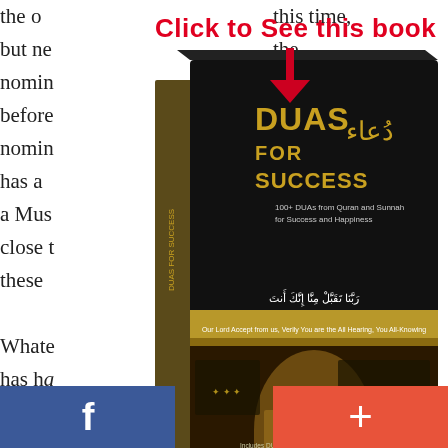the o... this time, but ne... the nomin... ever before... ne the nomin... r before has a... ates had a Mus... s so close t... ined in these...
[Figure (illustration): Advertisement overlay showing a red 'Click to See this book' label with a downward red arrow pointing to a book cover titled 'DUAS FOR SUCCESS' by IqraSense.com, featuring Arabic calligraphy and an image of the Kaaba door]
Whate... r Obama has ha... ers, the media... an what he ha... presid... back –
Facebook button (f) on lower left, Plus (+) button on lower right